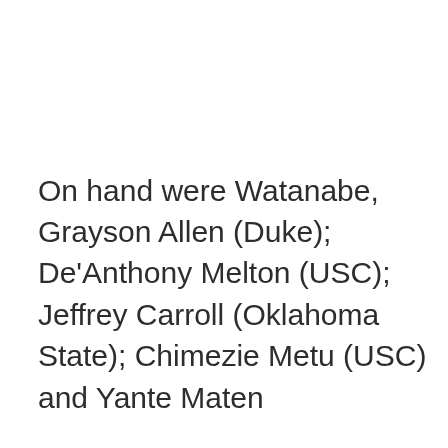On hand were Watanabe, Grayson Allen (Duke); De'Anthony Melton (USC); Jeffrey Carroll (Oklahoma State); Chimezie Metu (USC) and Yante Maten